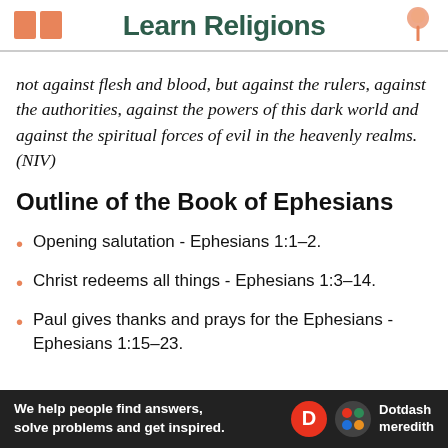Learn Religions
not against flesh and blood, but against the rulers, against the authorities, against the powers of this dark world and against the spiritual forces of evil in the heavenly realms. (NIV)
Outline of the Book of Ephesians
Opening salutation – Ephesians 1:1–2.
Christ redeems all things – Ephesians 1:3–14.
Paul gives thanks and prays for the Ephesians – Ephesians 1:15–23.